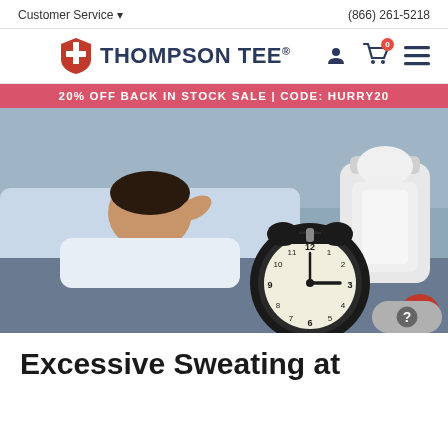Customer Service ▾   (866) 261-5218
[Figure (logo): Thompson Tee logo with red shield and bold uppercase text]
20% OFF BACK IN STOCK SALE | CODE: HURRY20
[Figure (photo): Person lying in bed with a classic alarm clock in the foreground showing approximately 3:00 AM, and a white lantern in the background]
Excessive Sweating at